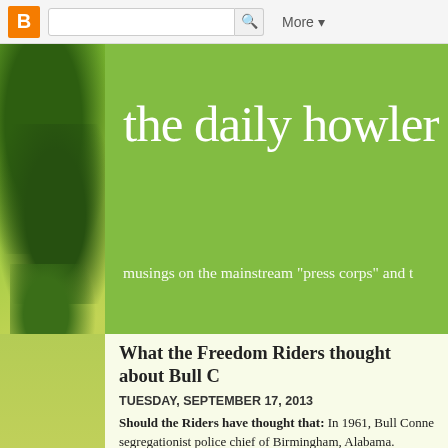[Figure (screenshot): Blogger navbar with orange B logo, search box, and More dropdown]
[Figure (photo): Green foliage/leaves background strip on the left side]
the daily howler
musings on the mainstream "press corps" and t
What the Freedom Riders thought about Bull C
TUESDAY, SEPTEMBER 17, 2013
Should the Riders have thought that: In 1961, Bull Conne segregationist police chief of Birmingham, Alabama.
He became famous in 1963 for his use of fire hoses and atta demonstrations known as the “children’s crusade.” In his bo